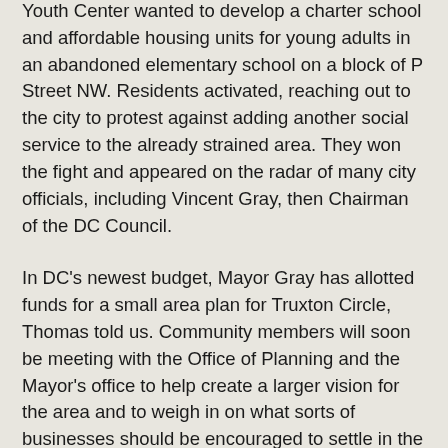a city agency that had its sights set on the area. The Latin American Youth Center wanted to develop a charter school and affordable housing units for young adults in an abandoned elementary school on a block of P Street NW. Residents activated, reaching out to the city to protest against adding another social service to the already strained area. They won the fight and appeared on the radar of many city officials, including Vincent Gray, then Chairman of the DC Council.
In DC's newest budget, Mayor Gray has allotted funds for a small area plan for Truxton Circle, Thomas told us. Community members will soon be meeting with the Office of Planning and the Mayor's office to help create a larger vision for the area and to weigh in on what sorts of businesses should be encouraged to settle in the neighborhood.
“That's something that we never really had any input on, which is part of the reason why so many social services were dumped in the community. There was no plan,” said Thomas.